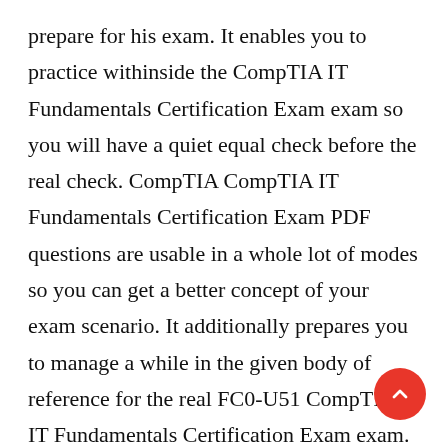prepare for his exam. It enables you to practice withinside the CompTIA IT Fundamentals Certification Exam exam so you will have a quiet equal check before the real check. CompTIA CompTIA IT Fundamentals Certification Exam PDF questions are usable in a whole lot of modes so you can get a better concept of your exam scenario. It additionally prepares you to manage a while in the given body of reference for the real FC0-U51 CompTIA IT Fundamentals Certification Exam exam. So, in different words, it additionally teaches you time management. So, to make certain the success withinside the very last exam, one has to undergo the given CompTIA IT Fundamentals Certification Exam prac test questions provided via way of means of FC0-U51 IT